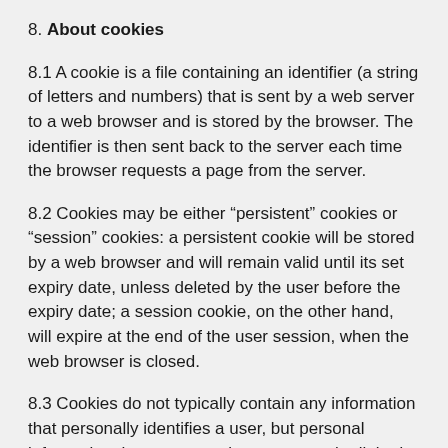8. About cookies
8.1 A cookie is a file containing an identifier (a string of letters and numbers) that is sent by a web server to a web browser and is stored by the browser. The identifier is then sent back to the server each time the browser requests a page from the server.
8.2 Cookies may be either “persistent” cookies or “session” cookies: a persistent cookie will be stored by a web browser and will remain valid until its set expiry date, unless deleted by the user before the expiry date; a session cookie, on the other hand, will expire at the end of the user session, when the web browser is closed.
8.3 Cookies do not typically contain any information that personally identifies a user, but personal information that we store about you may be linked to the information stored in and obtained from cookies.